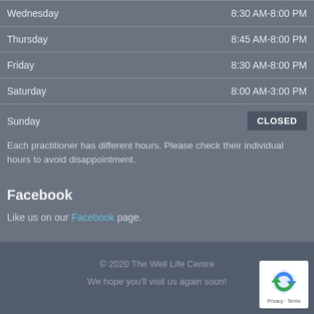| Day | Hours |
| --- | --- |
| Wednesday | 8:30 AM-8:00 PM |
| Thursday | 8:45 AM-8:00 PM |
| Friday | 8:30 AM-8:00 PM |
| Saturday | 8:00 AM-3:00 PM |
| Sunday | CLOSED |
Each practitioner has different hours. Please check their individual hours to avoid disappointment.
Facebook
Like us on our Facebook page.
© 2020 The Well Life Centre
We hope you'll visit us again soon!